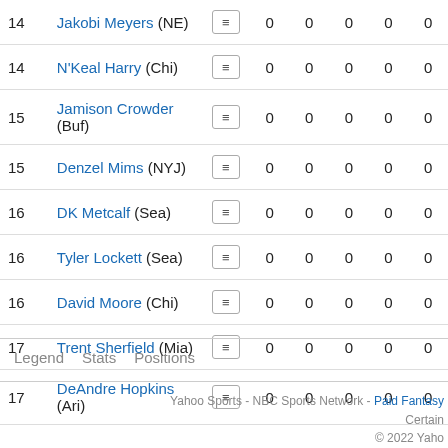| Rank | Player |  | Stat1 | Stat2 | Stat3 | Stat4 | Stat5 |
| --- | --- | --- | --- | --- | --- | --- | --- |
| 14 | Jakobi Meyers (NE) | ☰ | 0 | 0 | 0 | 0 | 0 |
| 14 | N'Keal Harry (Chi) | ☰ | 0 | 0 | 0 | 0 | 0 |
| 15 | Jamison Crowder (Buf) | ☰ | 0 | 0 | 0 | 0 | 0 |
| 15 | Denzel Mims (NYJ) | ☰ | 0 | 0 | 0 | 0 | 0 |
| 16 | DK Metcalf (Sea) | ☰ | 0 | 0 | 0 | 0 | 0 |
| 16 | Tyler Lockett (Sea) | ☰ | 0 | 0 | 0 | 0 | 0 |
| 16 | David Moore (Chi) | ☰ | 0 | 0 | 0 | 0 | 0 |
| 17 | Trent Sherfield (Mia) | ☰ | 0 | 0 | 0 | 0 | 0 |
| 17 | DeAndre Hopkins (Ari) | ☰ | 0 | 0 | 0 | 0 | 0 |
Legend   Stats   Positions
Yahoo Sports - NBC Sports Network - Paid Fantasy   Certain   © 2022 Yaho